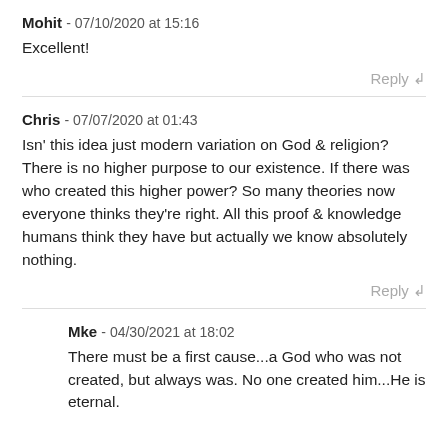Mohit - 07/10/2020 at 15:16
Excellent!
Reply ↲
Chris - 07/07/2020 at 01:43
Isn' this idea just modern variation on God & religion? There is no higher purpose to our existence. If there was who created this higher power? So many theories now everyone thinks they're right. All this proof & knowledge humans think they have but actually we know absolutely nothing.
Reply ↲
Mke - 04/30/2021 at 18:02
There must be a first cause...a God who was not created, but always was. No one created him...He is eternal.